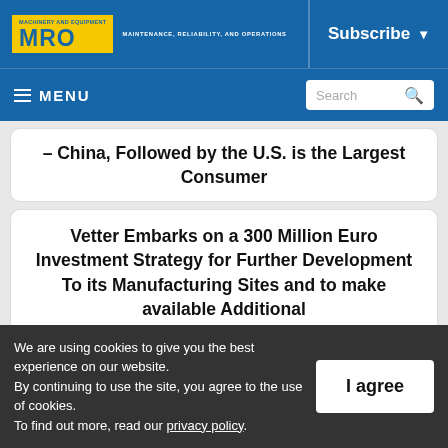MRO — MACHINERY AND EQUIPMENT — MAINTENANCE, RELIABILITY, AND OPERATIONS
Subscribe
≡ MENU
Search
– China, Followed by the U.S. is the Largest Consumer
Vetter Embarks on a 300 Million Euro Investment Strategy for Further Development To its Manufacturing Sites and to make available Additional
We are using cookies to give you the best experience on our website.
By continuing to use the site, you agree to the use of cookies.
To find out more, read our privacy policy.
I agree